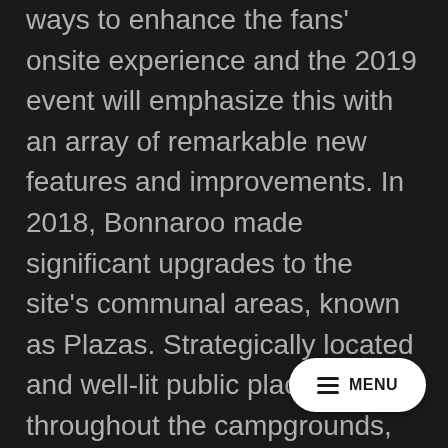ways to enhance the fans' onsite experience and the 2019 event will emphasize this with an array of remarkable new features and improvements. In 2018, Bonnaroo made significant upgrades to the site's communal areas, known as Plazas. Strategically located and well-lit public places throughout the campgrounds, Plazas include shade, free public Wi-Fi, showers, activities, charging stations, Clean Vibes Trading Post redemption centers, misting stations, medi stations, information and portable